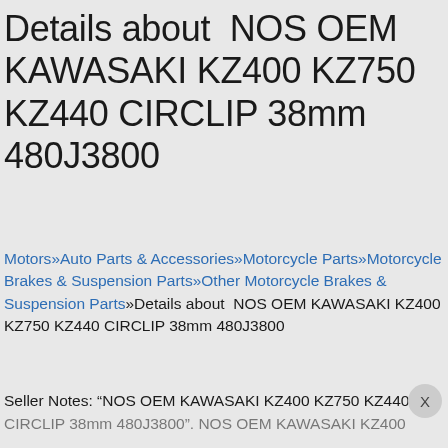Details about  NOS OEM KAWASAKI KZ400 KZ750 KZ440 CIRCLIP 38mm 480J3800
Motors»Auto Parts & Accessories»Motorcycle Parts»Motorcycle Brakes & Suspension Parts»Other Motorcycle Brakes & Suspension Parts»Details about  NOS OEM KAWASAKI KZ400 KZ750 KZ440 CIRCLIP 38mm 480J3800
Seller Notes: “NOS OEM KAWASAKI KZ400 KZ750 KZ440 CIRCLIP 38mm 480J3800”. NOS OEM KAWASAKI KZ400...